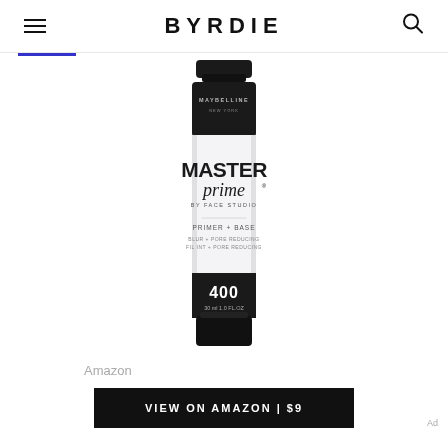BYRDIE
[Figure (photo): Maybelline Master Prime by Face Studio primer tube (400, 30ml 1.0 FL.OZ), black cap and base with white body showing product branding]
Amazon
VIEW ON AMAZON | $9